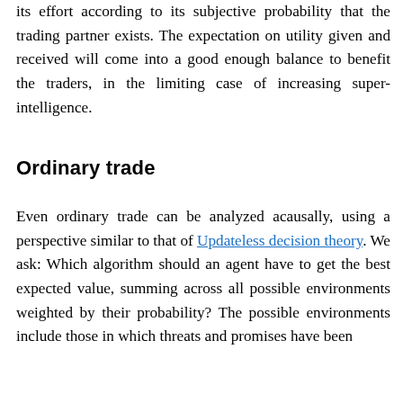its effort according to its subjective probability that the trading partner exists. The expectation on utility given and received will come into a good enough balance to benefit the traders, in the limiting case of increasing super-intelligence.
Ordinary trade
Even ordinary trade can be analyzed acausally, using a perspective similar to that of Updateless decision theory. We ask: Which algorithm should an agent have to get the best expected value, summing across all possible environments weighted by their probability? The possible environments include those in which threats and promises have been